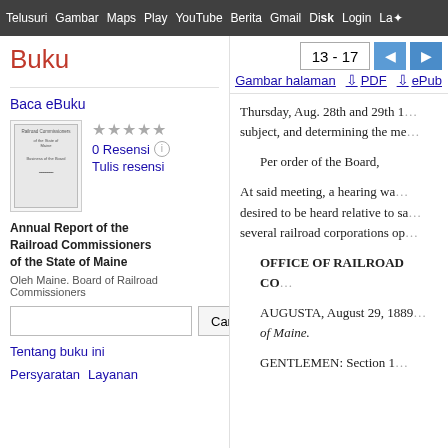Telusuri  Gambar  Maps  Play  YouTube  Berita  Gmail  Disk  Login  Layar
Buku
13 - 17
Gambar halaman  ↓ PDF  ↓ ePub
Baca eBuku
[Figure (illustration): Book cover thumbnail for Annual Report of the Railroad Commissioners of the State of Maine]
★★★★★
0 Resensi ℹ
Tulis resensi
Annual Report of the Railroad Commissioners of the State of Maine
Oleh Maine. Board of Railroad Commissioners
Cari
Tentang buku ini
Persyaratan  Layanan
Thursday, Aug. 28th and 29th 1... subject, and determining the me...
Per order of the Board,
At said meeting, a hearing wa... desired to be heard relative to sa... several railroad corporations op...
OFFICE OF RAILROAD CO...
AUGUSTA, August 29, 1889... of Maine.
GENTLEMEN: Section 1...